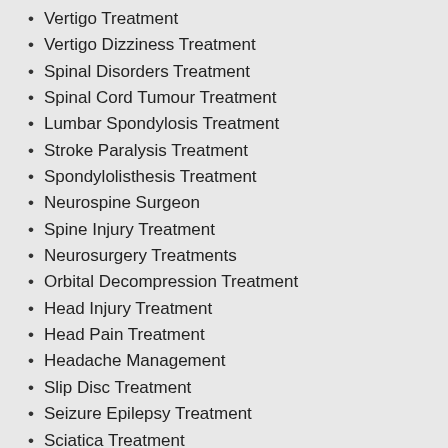Vertigo Treatment
Vertigo Dizziness Treatment
Spinal Disorders Treatment
Spinal Cord Tumour Treatment
Lumbar Spondylosis Treatment
Stroke Paralysis Treatment
Spondylolisthesis Treatment
Neurospine Surgeon
Spine Injury Treatment
Neurosurgery Treatments
Orbital Decompression Treatment
Head Injury Treatment
Head Pain Treatment
Headache Management
Slip Disc Treatment
Seizure Epilepsy Treatment
Sciatica Treatment
Abscess
Acute Spine Cord Injury
Anterior Cervical Discectomy with Fusion
Backache and Stroke
Craniotomy